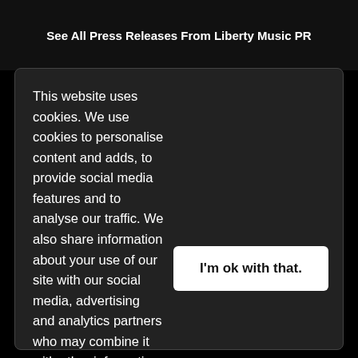See All Press Releases From Liberty Music PR
This website uses cookies. We use cookies to personalise content and adds, to provide social media features and to analyse our traffic. We also share information about your use of our site with our social media, advertising and analytics partners who may combine it with other information that you've provided to them or that they've collected from your use of their services. Learn more